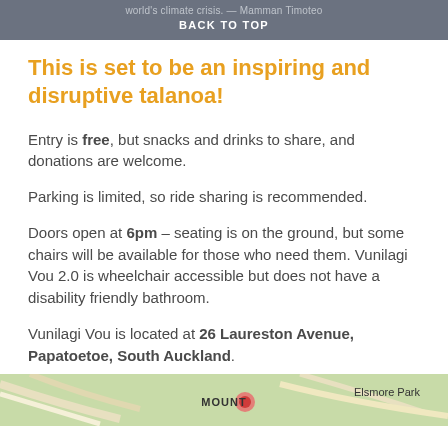world's climate crisis. — Mamman Timoteo
BACK TO TOP
This is set to be an inspiring and disruptive talanoa!
Entry is free, but snacks and drinks to share, and donations are welcome.
Parking is limited, so ride sharing is recommended.
Doors open at 6pm – seating is on the ground, but some chairs will be available for those who need them. Vunilagi Vou 2.0 is wheelchair accessible but does not have a disability friendly bathroom.
Vunilagi Vou is located at 26 Laureston Avenue, Papatoetoe, South Auckland.
[Figure (map): Street map showing area near Mount and Elsmore Park, South Auckland]